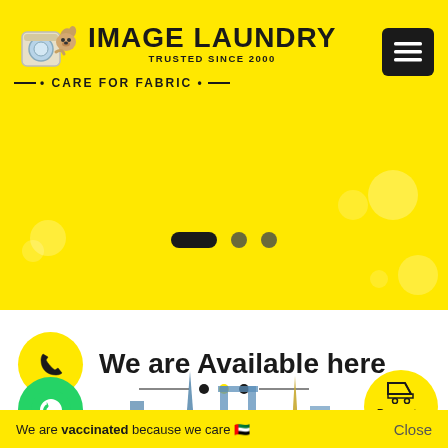[Figure (logo): Image Laundry logo with mascot character (dog with laundry equipment), brand name IMAGE LAUNDRY, TRUSTED SINCE 2000, and tagline CARE FOR FABRIC]
[Figure (illustration): Yellow banner with decorative soap bubbles and slider dots indicating carousel position]
We are Available here
[Figure (illustration): Phone/call icon in yellow circle on white background]
[Figure (illustration): WhatsApp icon in green circle]
[Figure (illustration): Shopping cart icon with Request a Pickup label in yellow circle]
[Figure (illustration): Dubai skyline silhouette in blue/teal tones]
We are vaccinated because we care 🇦🇪
Close